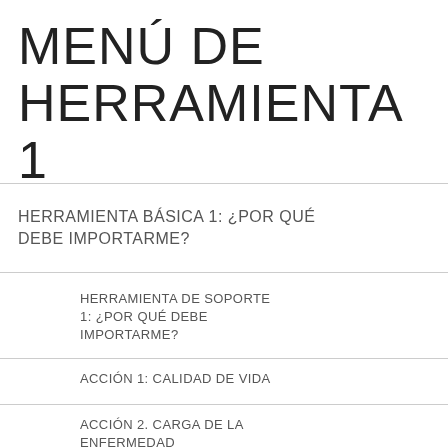MENÚ DE HERRAMIENTA 1
HERRAMIENTA BÁSICA 1: ¿POR QUÉ DEBE IMPORTARME?
HERRAMIENTA DE SOPORTE 1: ¿POR QUÉ DEBE IMPORTARME?
ACCIÓN 1: CALIDAD DE VIDA
ACCIÓN 2. CARGA DE LA ENFERMEDAD